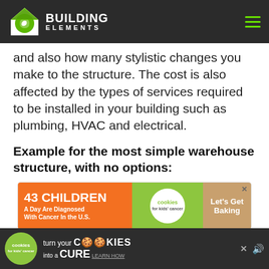BUILDING ELEMENTS
and also how many stylistic changes you make to the structure. The cost is also affected by the types of services required to be installed in your building such as plumbing, HVAC and electrical.
Example for the most simple warehouse structure, with no options:
[Figure (other): Advertisement banner: '43 CHILDREN A Day Are Diagnosed With Cancer In the U.S.' cookies for kids cancer — Let's Get Baking]
[Figure (other): Advertisement banner: cookies for kids cancer — turn your COOKIES into a CURE LEARN HOW]